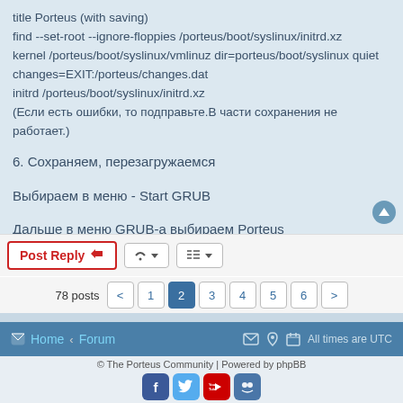title Porteus (with saving)
find --set-root --ignore-floppies /porteus/boot/syslinux/initrd.xz
kernel /porteus/boot/syslinux/vmlinuz dir=porteus/boot/syslinux quiet
changes=EXIT:/porteus/changes.dat
initrd /porteus/boot/syslinux/initrd.xz
(Если есть ошибки, то подправьте.В части сохранения не работает.)
6. Сохраняем, перезагружаемся
Выбираем в меню - Start GRUB
Дальше в меню GRUB-а выбираем Porteus
© The Porteus Community | Powered by phpBB